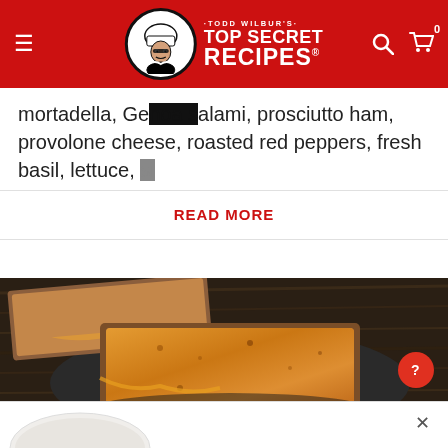Todd Wilbur's Top Secret Recipes
mortadella, Genoa salami, prosciutto ham, provolone cheese, roasted red peppers, fresh basil, lettuce, s
READ MORE
[Figure (photo): Grilled cheese sandwich cut in half on a dark plate, golden brown and crispy, on a wooden surface]
[Figure (photo): Bottom popup partial view showing a white bowl]